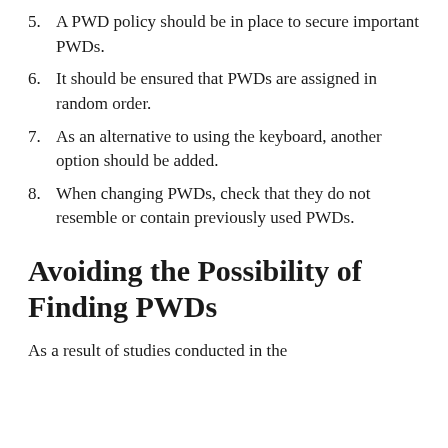5. A PWD policy should be in place to secure important PWDs.
6. It should be ensured that PWDs are assigned in random order.
7. As an alternative to using the keyboard, another option should be added.
8. When changing PWDs, check that they do not resemble or contain previously used PWDs.
Avoiding the Possibility of Finding PWDs
As a result of studies conducted in the